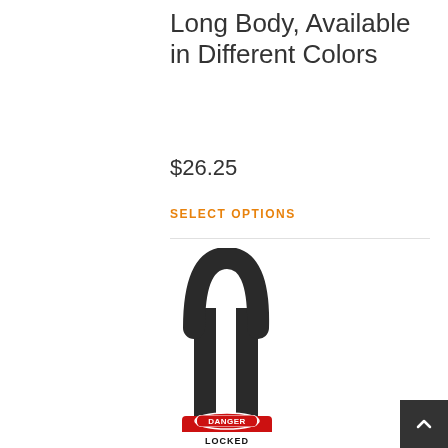Long Body, Available in Different Colors
$26.25
SELECT OPTIONS
[Figure (photo): Red safety padlock with long black shackle and DANGER LOCKED label on the body]